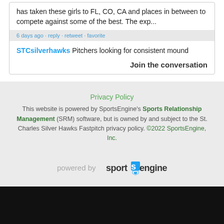has taken these girls to FL, CO, CA and places in between to compete against some of the best. The exp...
6 days ago · reply · retweet · favorite
STCsilverhawks Pitchers looking for consistent mound
Join the conversation
Privacy Policy
This website is powered by SportsEngine's Sports Relationship Management (SRM) software, but is owned by and subject to the St. Charles Silver Hawks Fastpitch privacy policy. ©2022 SportsEngine, Inc.
[Figure (logo): powered by sportsengine logo]